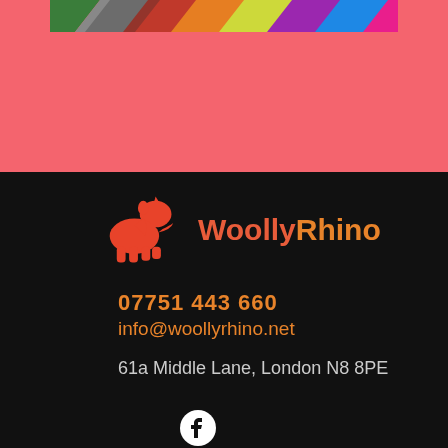[Figure (photo): Colorful diagonal striped photo strip on salmon/coral pink background]
[Figure (logo): WoollyRhino logo: red/orange rhino silhouette with WoollyRhino text in red-orange gradient on black background]
07751 443 660
info@woollyrhino.net
61a Middle Lane, London N8 8PE
[Figure (logo): Facebook logo circle icon in white on black]